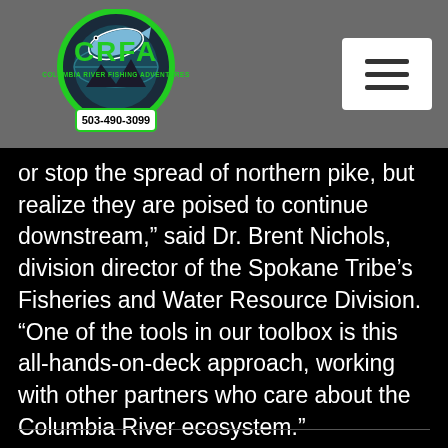[Figure (logo): CRFA Columbia River Fishing Adventures logo with fish, green circular design and phone number 503-490-3099]
or stop the spread of northern pike, but realize they are poised to continue downstream,” said Dr. Brent Nichols, division director of the Spokane Tribe’s Fisheries and Water Resource Division. “One of the tools in our toolbox is this all-hands-on-deck approach, working with other partners who care about the Columbia River ecosystem.”